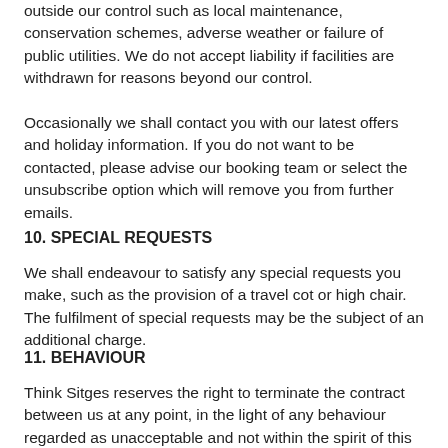outside our control such as local maintenance, conservation schemes, adverse weather or failure of public utilities. We do not accept liability if facilities are withdrawn for reasons beyond our control.
Occasionally we shall contact you with our latest offers and holiday information. If you do not want to be contacted, please advise our booking team or select the unsubscribe option which will remove you from further emails.
10. SPECIAL REQUESTS
We shall endeavour to satisfy any special requests you make, such as the provision of a travel cot or high chair. The fulfilment of special requests may be the subject of an additional charge.
11. BEHAVIOUR
Think Sitges reserves the right to terminate the contract between us at any point, in the light of any behaviour regarded as unacceptable and not within the spirit of this agreement. No refunds will be given and no alternative accommodation will be provided.